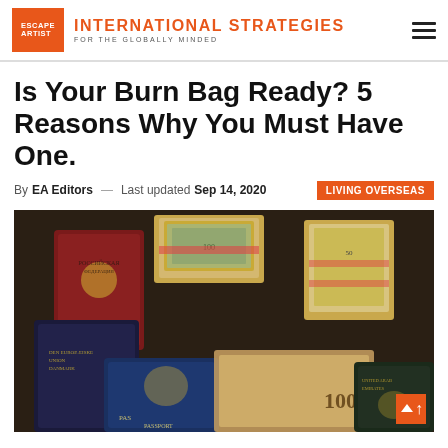ESCAPE ARTIST — INTERNATIONAL STRATEGIES FOR THE GLOBALLY MINDED
Is Your Burn Bag Ready? 5 Reasons Why You Must Have One.
By EA Editors — Last updated Sep 14, 2020  LIVING OVERSEAS
[Figure (photo): Photo showing multiple passports (Russian, Danish/EU, Australian, UAE) and bundles of cash (USD, Euro, and other currency notes) spread on a dark surface.]